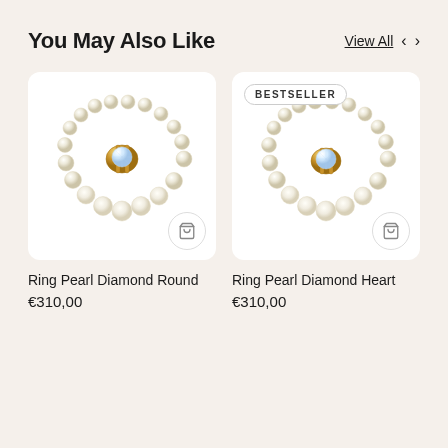You May Also Like
View All
[Figure (photo): Pearl ring with gold diamond round setting on white background]
[Figure (photo): Pearl ring with gold diamond heart setting on white background, BESTSELLER badge]
Ring Pearl Diamond Round
€310,00
Ring Pearl Diamond Heart
€310,00